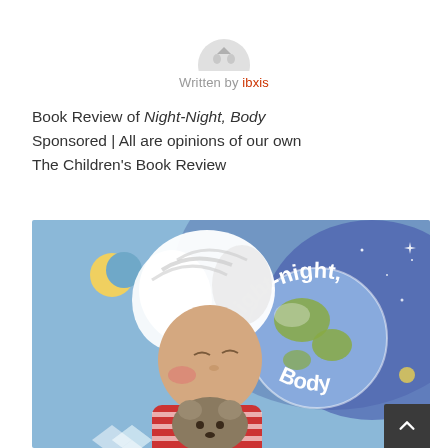[Figure (illustration): Partial circular avatar/profile image at top center, light gray tones, partially cropped]
Written by ibxis
Book Review of Night-Night, Body
Sponsored | All are opinions of our own
The Children's Book Review
[Figure (illustration): Book cover illustration for 'Night-night, Body' showing a sleeping child with white hair hugging a stuffed animal, a globe, crescent moon, and the book title text curved around the globe on a blue watercolor background]